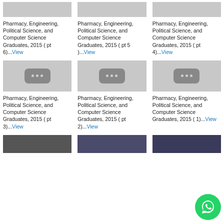[Figure (screenshot): Video thumbnail placeholder top-left (cropped at top)]
[Figure (screenshot): Video thumbnail placeholder top-center (cropped at top)]
[Figure (screenshot): Video thumbnail placeholder top-right (cropped at top)]
Pharmacy, Engineering, Political Science, and Computer Science Graduates, 2015 ( pt 6)...View
Pharmacy, Engineering, Political Science, and Computer Science Graduates, 2015 ( pt 5 )...View
Pharmacy, Engineering, Political Science, and Computer Science Graduates, 2015 ( pt 4)...View
[Figure (screenshot): Video thumbnail placeholder middle-left with play icon]
[Figure (screenshot): Video thumbnail placeholder middle-center with play icon]
[Figure (screenshot): Video thumbnail placeholder middle-right with play icon]
Pharmacy, Engineering, Political Science, and Computer Science Graduates, 2015 ( pt 3)...View
Pharmacy, Engineering, Political Science, and Computer Science Graduates, 2015 ( pt 2)...View
Pharmacy, Engineering, Political Science, and Computer Science Graduates, 2015 ( 1)...View
[Figure (screenshot): Video thumbnail bottom-left (cropped at bottom)]
[Figure (screenshot): Video thumbnail bottom-center (cropped at bottom)]
[Figure (screenshot): Video thumbnail bottom-right (cropped at bottom)]